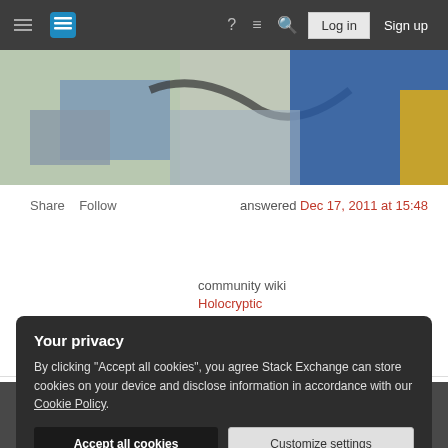Stack Exchange navigation bar with hamburger menu, logo, help, chat, search, Log in, Sign up
[Figure (illustration): Partial comic/illustration image showing a colorful scene with blue and yellow elements]
Share   Follow
answered Dec 17, 2011 at 15:48
community wiki
Holocryptic
Add a comment
[Figure (photo): Partially visible photo at bottom of page, dark/grey tones]
Your privacy
By clicking "Accept all cookies", you agree Stack Exchange can store cookies on your device and disclose information in accordance with our Cookie Policy.
Accept all cookies   Customize settings